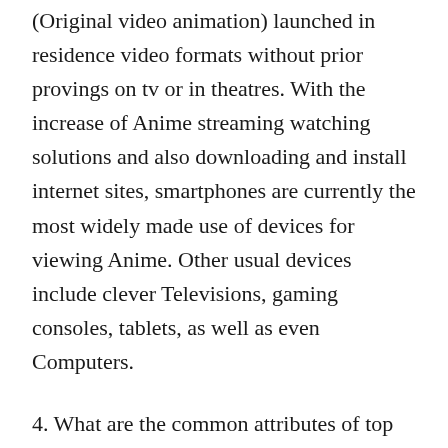eventually DVD. Yet nowadays, you can find OVAs (Original video animation) launched in residence video formats without prior provings on tv or in theatres. With the increase of Anime streaming watching solutions and also downloading and install internet sites, smartphones are currently the most widely made use of devices for viewing Anime. Other usual devices include clever Televisions, gaming consoles, tablets, as well as even Computers.
4. What are the common attributes of top anime web sites?
1. A huge collection of anime series in various categories, such as drama, action, comedy, secret, thriller, and a lot more.